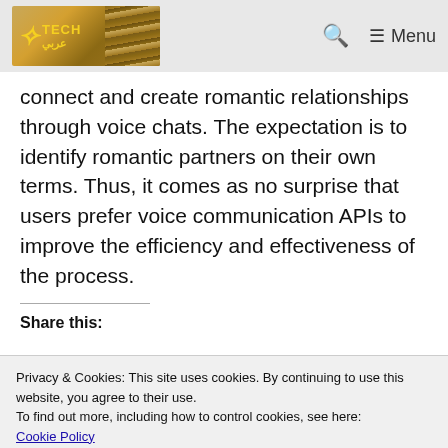Tech [logo with Arabic text] | Search | Menu
connect and create romantic relationships through voice chats. The expectation is to identify romantic partners on their own terms. Thus, it comes as no surprise that users prefer voice communication APIs to improve the efficiency and effectiveness of the process.
Share this:
Privacy & Cookies: This site uses cookies. By continuing to use this website, you agree to their use.
To find out more, including how to control cookies, see here:
Cookie Policy
Close and accept
Like | Privacy · Terms